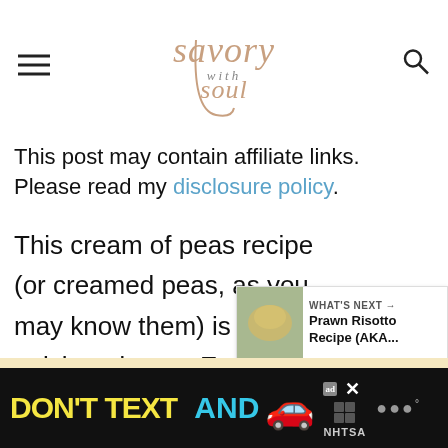Savory with Soul
This post may contain affiliate links. Please read my disclosure policy.
This cream of peas recipe (or creamed peas, as you may know them) is very quick and tasty. Even if you thought you didn't like peas you may very well change your mind after trying th…
[Figure (infographic): Social share sidebar with heart button showing 245 and share icon]
[Figure (infographic): What's Next panel: Prawn Risotto Recipe (AKA... with food image thumbnail]
[Figure (infographic): Ad banner: DON'T TEXT AND [car emoji] NHTSA advertisement]